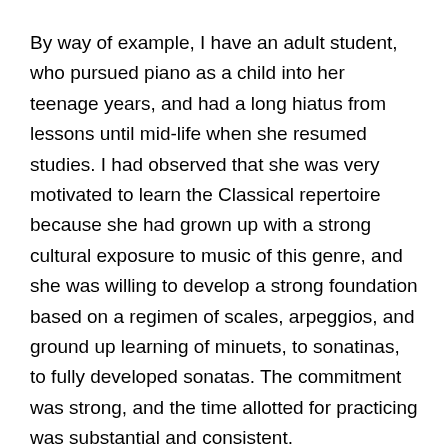By way of example, I have an adult student, who pursued piano as a child into her teenage years, and had a long hiatus from lessons until mid-life when she resumed studies. I had observed that she was very motivated to learn the Classical repertoire because she had grown up with a strong cultural exposure to music of this genre, and she was willing to develop a strong foundation based on a regimen of scales, arpeggios, and ground up learning of minuets, to sonatinas, to fully developed sonatas. The commitment was strong, and the time allotted for practicing was substantial and consistent.
But these particular circumstances would not be common to every pupil taking lessons.
In this woman's situation, within three years she had the